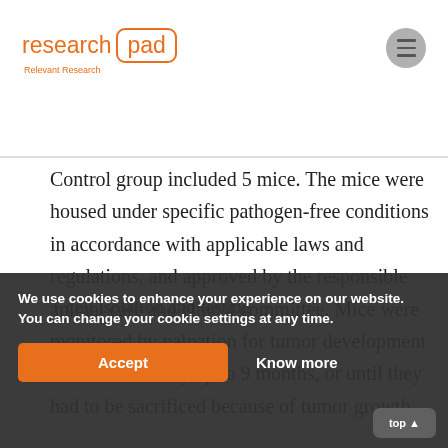research pad — Relevant Research
Control group included 5 mice. The mice were housed under specific pathogen-free conditions in accordance with applicable laws and regulations, and approved by the responsible animal care and ethical committee. Mice were monitored by palpation for tumor development and bled monthly up to 9 months, or until they had to be sacrificed because of tumor growth.
T cell isolation and testing
We use cookies to enhance your experience on our website. You can change your cookie settings at any time. Accept Know more